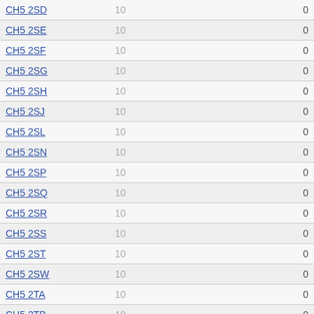| Code | Value | Count |
| --- | --- | --- |
| CH5 2SD | 10 | 0 |
| CH5 2SE | 10 | 0 |
| CH5 2SF | 10 | 0 |
| CH5 2SG | 10 | 0 |
| CH5 2SH | 10 | 0 |
| CH5 2SJ | 10 | 0 |
| CH5 2SL | 10 | 0 |
| CH5 2SN | 10 | 0 |
| CH5 2SP | 10 | 0 |
| CH5 2SQ | 10 | 0 |
| CH5 2SR | 10 | 0 |
| CH5 2SS | 10 | 0 |
| CH5 2ST | 10 | 0 |
| CH5 2SW | 10 | 0 |
| CH5 2TA | 10 | 0 |
| CH5 2TB | 10 | 0 |
| CH5 2TE | 10 | 0 |
| CH5 2TF | 10 | 0 |